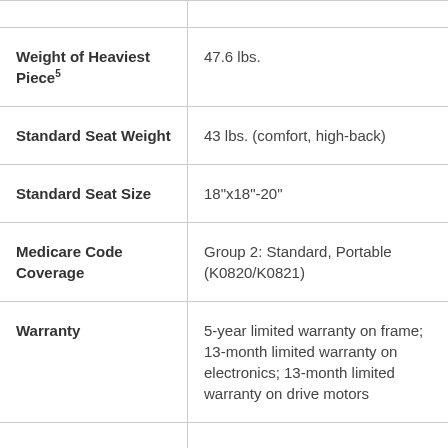| Specification | Value |
| --- | --- |
| Weight of Heaviest Piece⁵ | 47.6 lbs. |
| Standard Seat Weight | 43 lbs. (comfort, high-back) |
| Standard Seat Size | 18"x18"-20" |
| Medicare Code Coverage | Group 2: Standard, Portable (K0820/K0821) |
| Warranty | 5-year limited warranty on frame; 13-month limited warranty on electronics; 13-month limited warranty on drive motors |